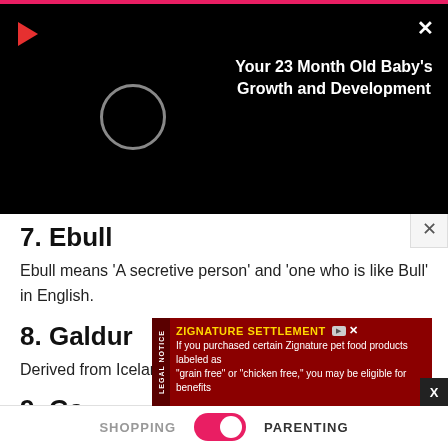[Figure (screenshot): Video player overlay with black background, pink top bar, play button icon, loading spinner circle, and white bold title text reading 'Your 23 Month Old Baby's Growth and Development']
7. Ebull
Ebull means ‘A secretive person’ and ‘one who is like Bull’ in English.
8. Galdur
Derived from Icelandic origin, Galdur means “magic.”
9. Ga
[Figure (screenshot): Advertisement banner for Zignature Settlement in dark red with yellow title text and white body text about grain free pet food class action]
SHOPPING   PARENTING